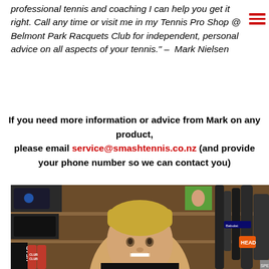professional tennis and coaching I can help you get it right. Call any time or visit me in my Tennis Pro Shop @ Belmont Park Racquets Club for independent, personal advice on all aspects of your tennis." – Mark Nielsen
If you need more information or advice from Mark on any product, please email service@smashtennis.co.nz (and provide your phone number so we can contact you)
[Figure (photo): Photo of Mark Nielsen, a blond man smiling in his Tennis Pro Shop, surrounded by tennis racquets, shoes, and equipment on shelves behind him.]